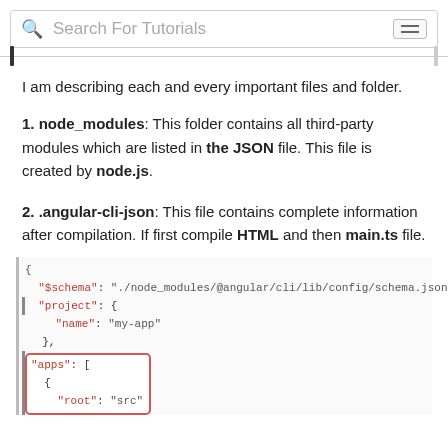Search For Tutorials
I am describing each and every important files and folder.
1. node_modules: This folder contains all third-party modules which are listed in the JSON file. This file is created by node.js.
2. .angular-cli-json: This file contains complete information after compilation. If first compile HTML and then main.ts file.
[Figure (screenshot): Code block showing angular-cli.json content with $schema, project, name, and apps fields, with the apps section highlighted in a red border box]